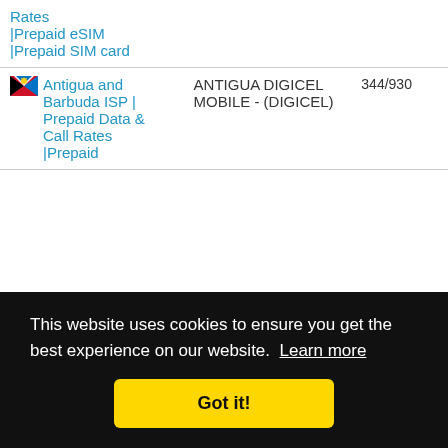| Country / ISP | Operator | Code |
| --- | --- | --- |
| Rates |Prepaid eSIM |Prepaid SIM card |  |  |
| Antigua and Barbuda ISP | Prepaid Data & Call Rates |Prepaid | ANTIGUA DIGICEL MOBILE - (DIGICEL) | 344/930 |
| ISP | Prepaid |  | 722/007 |
This website uses cookies to ensure you get the best experience on our website. Learn more